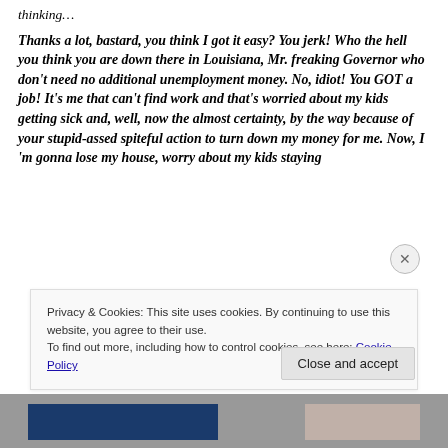thinking…
Thanks a lot, bastard, you think I got it easy? You jerk! Who the hell you think you are down there in Louisiana, Mr. freaking Governor who don't need no additional unemployment money. No, idiot! You GOT a job! It's me that can't find work and that's worried about my kids getting sick and, well, now the almost certainty, by the way because of your stupid-assed spiteful action to turn down my money for me. Now, I 'm gonna lose my house, worry about my kids staying
Privacy & Cookies: This site uses cookies. By continuing to use this website, you agree to their use.
To find out more, including how to control cookies, see here: Cookie Policy
Close and accept